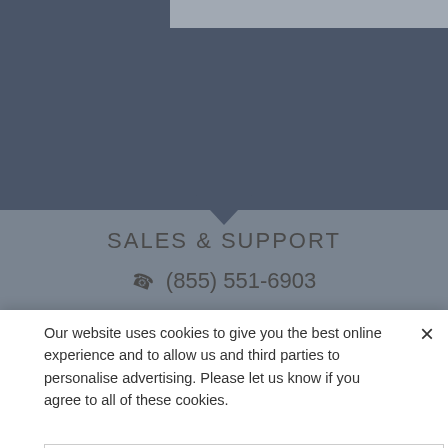[Figure (screenshot): Website background showing dark blue-gray header area with a lighter gray section below containing 'SALES & SUPPORT' heading and phone number, with a downward-pointing chevron/arrow divider between sections]
SALES & SUPPORT
☎ (855) 551-6903
Our website uses cookies to give you the best online experience and to allow us and third parties to personalise advertising. Please let us know if you agree to all of these cookies.
No, take me to settings
Yes, I agree